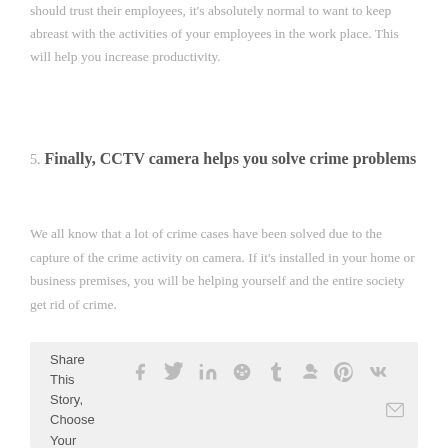should trust their employees, it's absolutely normal to want to keep abreast with the activities of your employees in the work place. This will help you increase productivity.
5. Finally, CCTV camera helps you solve crime problems
We all know that a lot of crime cases have been solved due to the capture of the crime activity on camera. If it's installed in your home or business premises, you will be helping yourself and the entire society get rid of crime.
December 9th, 2017  |  Comments Off
Share This Story, Choose Your Platform!